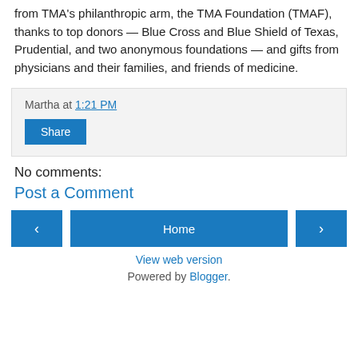from TMA's philanthropic arm, the TMA Foundation (TMAF), thanks to top donors — Blue Cross and Blue Shield of Texas, Prudential, and two anonymous foundations — and gifts from physicians and their families, and friends of medicine.
Martha at 1:21 PM
Share
No comments:
Post a Comment
‹
Home
›
View web version
Powered by Blogger.